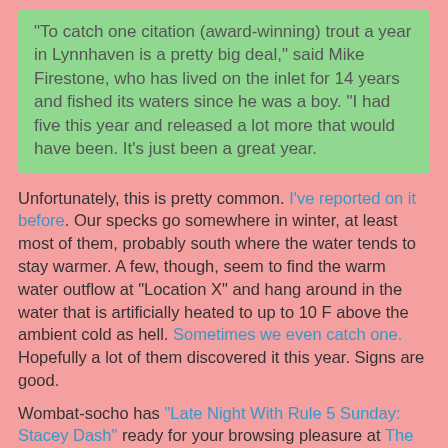“To catch one citation (award-winning) trout a year in Lynnhaven is a pretty big deal,” said Mike Firestone, who has lived on the inlet for 14 years and fished its waters since he was a boy. “I had five this year and released a lot more that would have been. It’s just been a great year.
Unfortunately, this is pretty common. I've reported on it before. Our specks go somewhere in winter, at least most of them, probably south where the water tends to stay warmer. A few, though, seem to find the warm water outflow at "Location X" and hang around in the water that is artificially heated to up to 10 F above the ambient cold as hell. Sometimes we even catch one.  Hopefully a lot of them discovered it this year. Signs are good.
Wombat-socho has "Late Night With Rule 5 Sunday: Stacey Dash" ready for your browsing pleasure at The Other McCain.
Fritz at 5:03 PM
Share